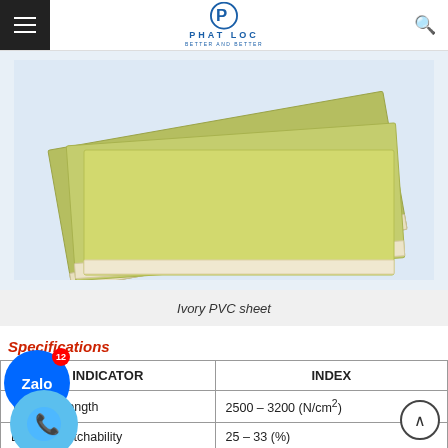PHAT LOC — Better and Better
[Figure (photo): Three olive/yellow-green PVC sheets stacked and fanned out on a white background, showing layered cross-section edges.]
Ivory PVC sheet
Specifications
| INDICATOR | INDEX |
| --- | --- |
| Tensile strength | 2500 – 3200 (N/cm²) |
| Length stretchability | 25 – 33 (%) |
| Flexural strength | 45 – 90 (Mpa) |